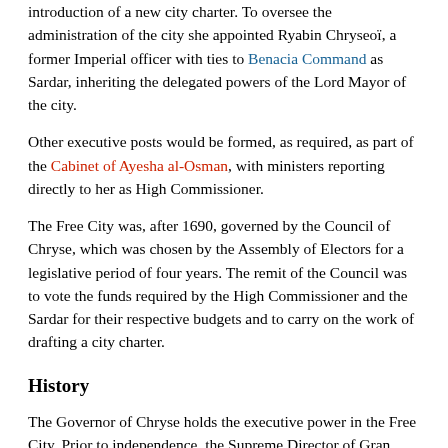introduction of a new city charter. To oversee the administration of the city she appointed Ryabin Chryseoï, a former Imperial officer with ties to Benacia Command as Sardar, inheriting the delegated powers of the Lord Mayor of the city.
Other executive posts would be formed, as required, as part of the Cabinet of Ayesha al-Osman, with ministers reporting directly to her as High Commissioner.
The Free City was, after 1690, governed by the Council of Chryse, which was chosen by the Assembly of Electors for a legislative period of four years. The remit of the Council was to vote the funds required by the High Commissioner and the Sardar for their respective budgets and to carry on the work of drafting a city charter.
History
The Governor of Chryse holds the executive power in the Free City. Prior to independence, the Supreme Director of Gran Verionia appointed the Governor. Incumbent Governor since 1683 is Isor Verion. In the post-independence constitution, the Assembly of Chryse elected the Governor.
The title of the executive power of the city of Chryse used to be the Viceroy. Regina Verion served as first Viceroy, having previously served as Chancellor of the Iron Company dominion of Elsenar. Aside from having the Viceroy, the Verion family has significant power in the nation, all members of the direct Verion line hold the dignitary title of "Prince(ss) of